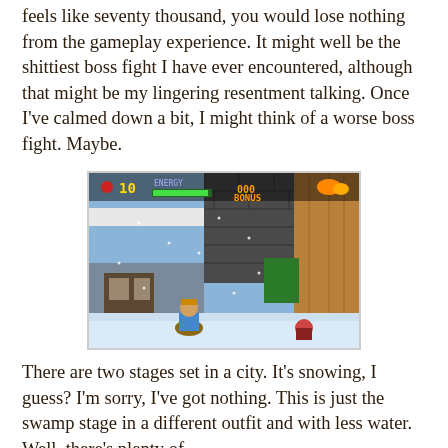feels like seventy thousand, you would lose nothing from the gameplay experience. It might well be the shittiest boss fight I have ever encountered, although that might be my lingering resentment talking. Once I've calmed down a bit, I might think of a worse boss fight. Maybe.
[Figure (screenshot): A screenshot of a side-scrolling video game showing a snowy city stage. The HUD displays '10' lives, 'ENERGY' bar, and 'BONUS' text in orange. The scene shows stone buildings with snow, a player character in blue outfit, and an enemy. The background has dark brick walls and brown walls.]
There are two stages set in a city. It's snowing, I guess? I'm sorry, I've got nothing. This is just the swamp stage in a different outfit and with less water. Well, there's plenty of